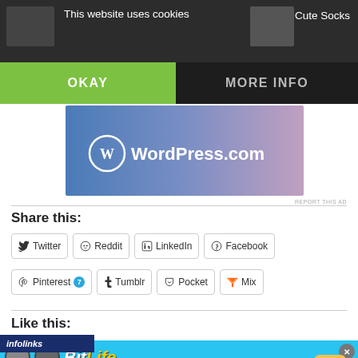This website uses cookies
OKAY
MORE INFO
Cute Socks
[Figure (screenshot): WordPress.com advertisement banner with blue-to-purple gradient background and WordPress logo]
REPORT THIS AD
Share this:
Twitter
Reddit
LinkedIn
Facebook
Pinterest 7
Tumblr
Pocket
Mix
Like this:
[Figure (infographic): Infolinks banner and BitLife advertisement: NOW WITH GOD MODE, with cartoon hands and game logo]